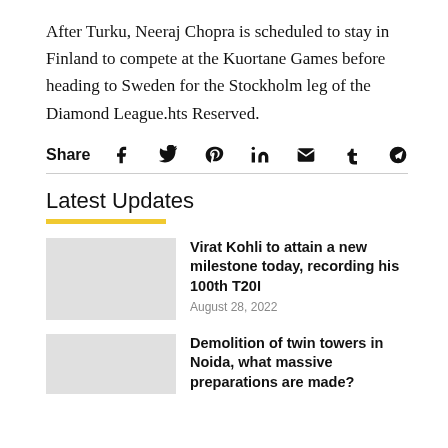After Turku, Neeraj Chopra is scheduled to stay in Finland to compete at the Kuortane Games before heading to Sweden for the Stockholm leg of the Diamond League.hts Reserved.
Share [icons: Facebook, Twitter, Pinterest, LinkedIn, Email, Tumblr, Telegram]
Latest Updates
Virat Kohli to attain a new milestone today, recording his 100th T20I
August 28, 2022
Demolition of twin towers in Noida, what massive preparations are made?